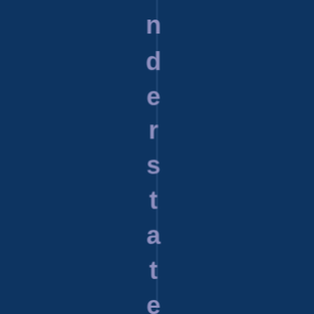[Figure (other): Dark navy blue background page with a vertical line dividing it, and vertical text reading 'nderstatement, de' centered on the vertical line, rendered in a muted purple/lavender color against the dark navy background.]